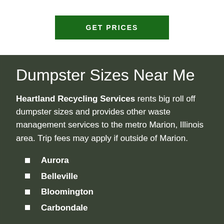[Figure (screenshot): Green 'GET PRICES' button on white background]
Dumpster Sizes Near Me
Heartland Recycling Services rents big roll off dumpster sizes and provides other waste management services to the metro Marion, Illinois area. Trip fees may apply if outside of Marion.
Aurora
Belleville
Bloomington
Carbondale